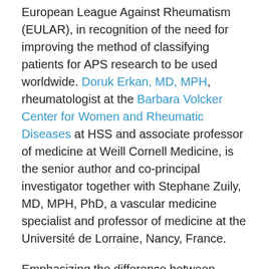European League Against Rheumatism (EULAR), in recognition of the need for improving the method of classifying patients for APS research to be used worldwide. Doruk Erkan, MD, MPH, rheumatologist at the Barbara Volcker Center for Women and Rheumatic Diseases at HSS and associate professor of medicine at Weill Cornell Medicine, is the senior author and co-principal investigator together with Stephane Zuily, MD, MPH, PhD, a vascular medicine specialist and professor of medicine at the Université de Lorraine, Nancy, France.
Emphasizing the difference between classification versus diagnosis criteria for APS, Dr. Erkan says, "Classification criteria are intended to be used in a research setting whereas diagnostic criteria are used in a clinical setting for the purpose of managing